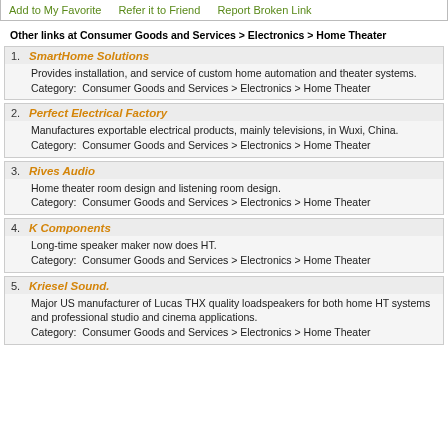Add to My Favorite   Refer it to Friend   Report Broken Link
Other links at Consumer Goods and Services > Electronics > Home Theater
1. SmartHome Solutions
Provides installation, and service of custom home automation and theater systems.
Category:  Consumer Goods and Services > Electronics > Home Theater
2. Perfect Electrical Factory
Manufactures exportable electrical products, mainly televisions, in Wuxi, China.
Category:  Consumer Goods and Services > Electronics > Home Theater
3. Rives Audio
Home theater room design and listening room design.
Category:  Consumer Goods and Services > Electronics > Home Theater
4. K Components
Long-time speaker maker now does HT.
Category:  Consumer Goods and Services > Electronics > Home Theater
5. Kriesel Sound.
Major US manufacturer of Lucas THX quality loadspeakers for both home HT systems and professional studio and cinema applications.
Category:  Consumer Goods and Services > Electronics > Home Theater